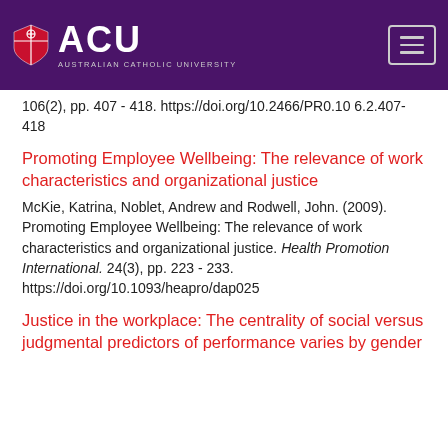[Figure (logo): Australian Catholic University (ACU) logo with shield icon on purple header bar with hamburger menu button]
106(2), pp. 407 - 418. https://doi.org/10.2466/PR0.106.2.407-418
Promoting Employee Wellbeing: The relevance of work characteristics and organizational justice
McKie, Katrina, Noblet, Andrew and Rodwell, John. (2009). Promoting Employee Wellbeing: The relevance of work characteristics and organizational justice. Health Promotion International. 24(3), pp. 223 - 233. https://doi.org/10.1093/heapro/dap025
Justice in the workplace: The centrality of social versus judgmental predictors of performance varies by gender